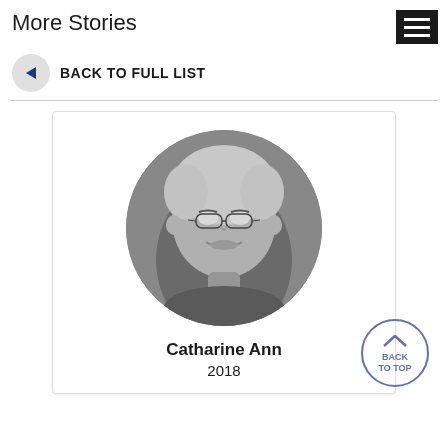More Stories
BACK TO FULL LIST
[Figure (photo): Black and white circular portrait photo of an elderly woman with short grey hair and glasses, smiling. Below the photo: Catharine Ann, 2018.]
[Figure (other): Back To Top button: a circle with an upward caret and text BACK TO TOP in blue/purple.]